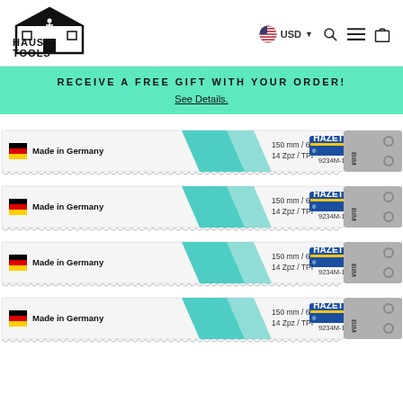[Figure (logo): Haus of Tools logo — cartoon house icon with tools, bold stylized text]
[Figure (infographic): Header navigation bar with USD currency selector, search icon, menu icon, and shopping bag icon]
RECEIVE A FREE GIFT WITH YOUR ORDER!
See Details.
[Figure (photo): Four stacked HAZET 9234M-150 BIM reciprocating saw blades labeled 'Made in Germany', 150mm / 6 inch, 14 Zpz / TPI, with teal diagonal stripe and gray mounting end]